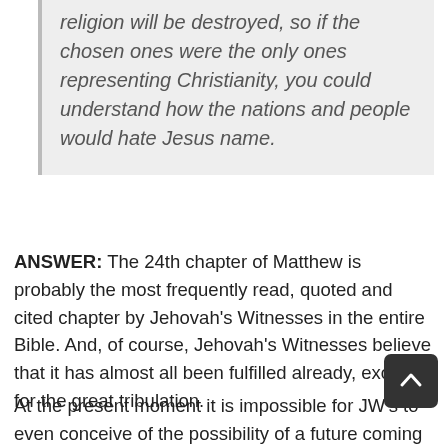religion will be destroyed, so if the chosen ones were the only ones representing Christianity, you could understand how the nations and people would hate Jesus name.
ANSWER: The 24th chapter of Matthew is probably the most frequently read, quoted and cited chapter by Jehovah's Witnesses in the entire Bible. And, of course, Jehovah's Witnesses believe that it has almost all been fulfilled already, except for the great tribulation.
At the present moment it is impossible for JW's to even conceive of the possibility of a future coming of Christ to initiate the conclusion of